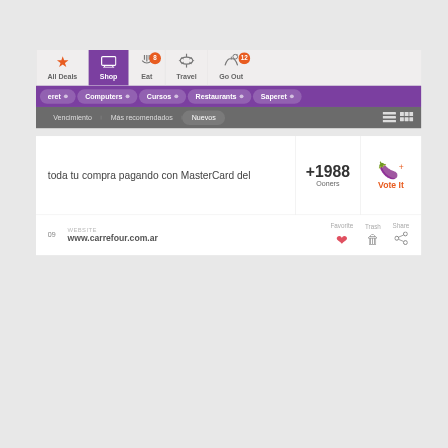[Figure (screenshot): Mobile/web app interface showing a deals navigation bar with category tabs (All Deals, Shop active, Eat with badge 8, Travel, Go Out with badge 12), purple category filter bar (Computers, Cursos, Restaurants, Saperet), grey sort bar (Vencimiento, Más recomendados, Nuevos active), a deal card showing '+1988 Ooners' and 'Vote It' button with text 'toda tu compra pagando con MasterCard del', and a footer row showing website www.carrefour.com.ar with Favorite (heart), Trash, and Share icons.]